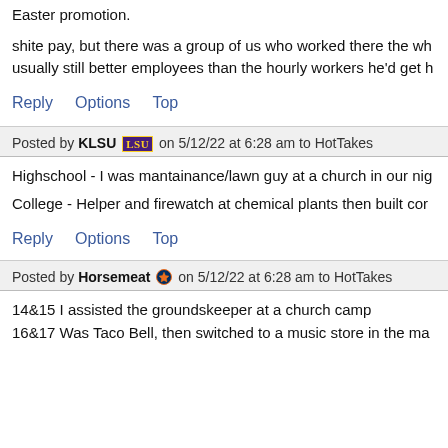Easter promotion.
shite pay, but there was a group of us who worked there the wh usually still better employees than the hourly workers he'd get h
Reply   Options   Top
Posted by KLSU [LSU] on 5/12/22 at 6:28 am to HotTakes
Highschool - I was mantainance/lawn guy at a church in our nig
College - Helper and firewatch at chemical plants then built cor
Reply   Options   Top
Posted by Horsemeat [Astros] on 5/12/22 at 6:28 am to HotTakes
14&15 I assisted the groundskeeper at a church camp
16&17 Was Taco Bell, then switched to a music store in the ma